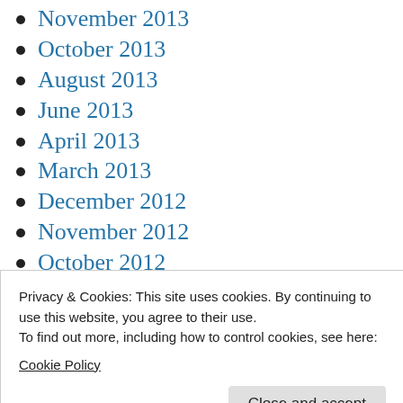November 2013
October 2013
August 2013
June 2013
April 2013
March 2013
December 2012
November 2012
October 2012
August 2012
May 2012
Privacy & Cookies: This site uses cookies. By continuing to use this website, you agree to their use.
To find out more, including how to control cookies, see here:
Cookie Policy
June 2011